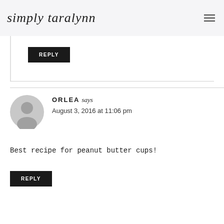simply taralynn
[Figure (other): Reply button (black background, white text uppercase REPLY)]
ORLEA says
August 3, 2016 at 11:06 pm
Best recipe for peanut butter cups!
[Figure (other): Reply button (black background, white text uppercase REPLY)]